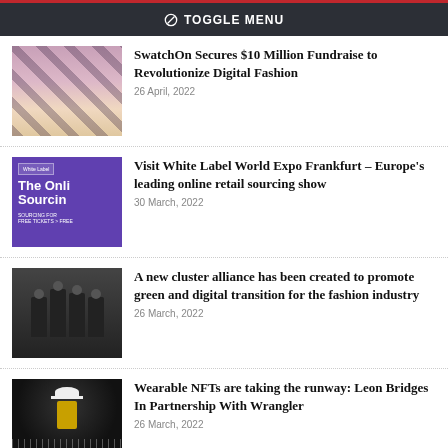Toggle Menu
SwatchOn Secures $10 Million Fundraise to Revolutionize Digital Fashion — 26 April, 2022
Visit White Label World Expo Frankfurt – Europe's leading online retail sourcing show — 30 March, 2022
A new cluster alliance has been created to promote green and digital transition for the fashion industry — 26 March, 2022
Wearable NFTs are taking the runway: Leon Bridges In Partnership With Wrangler — 26 March, 2022